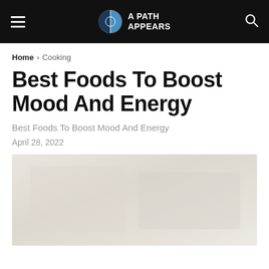A PATH APPEARS
Home > Cooking
Best Foods To Boost Mood And Energy
Best Foods To Boost Mood And Energy
April 28, 2022
[Figure (photo): Featured article image, light beige/grey placeholder photo area]